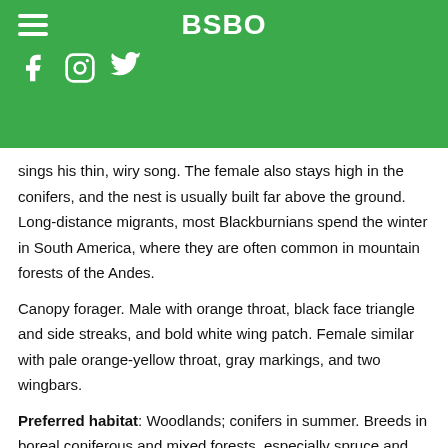BSBO
sings his thin, wiry song. The female also stays high in the conifers, and the nest is usually built far above the ground. Long-distance migrants, most Blackburnians spend the winter in South America, where they are often common in mountain forests of the Andes.
Canopy forager. Male with orange throat, black face triangle and side streaks, and bold white wing patch. Female similar with pale orange-yellow throat, gray markings, and two wingbars.
Preferred habitat: Woodlands; conifers in summer. Breeds in boreal coniferous and mixed forests, especially spruce and